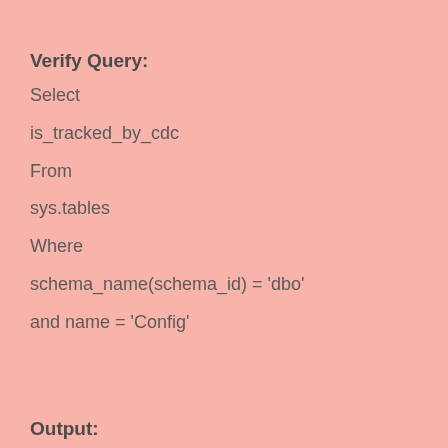Verify Query:
Select
is_tracked_by_cdc
From
sys.tables
Where
schema_name(schema_id) = 'dbo'
and name = 'Config'
Output: